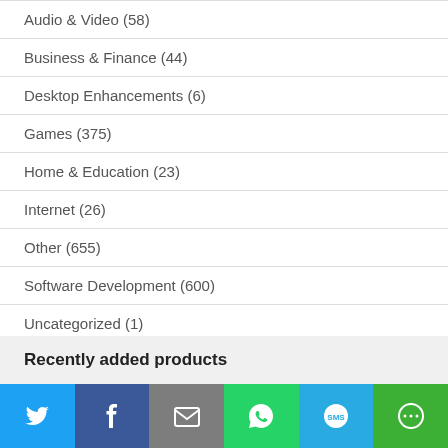Audio & Video (58)
Business & Finance (44)
Desktop Enhancements (6)
Games (375)
Home & Education (23)
Internet (26)
Other (655)
Software Development (600)
Uncategorized (1)
Utilities (13)
Web Authoring (8)
Recently added products
[Figure (other): Social share bar with Twitter, Facebook, Email, WhatsApp, SMS, and More buttons]